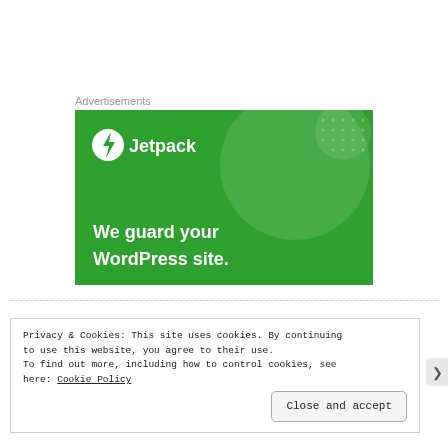Advertisements
[Figure (screenshot): Jetpack advertisement banner with green background showing a lightning bolt logo, the text 'Jetpack', and the tagline 'We guard your WordPress site.']
Privacy & Cookies: This site uses cookies. By continuing to use this website, you agree to their use.
To find out more, including how to control cookies, see here: Cookie Policy

Close and accept